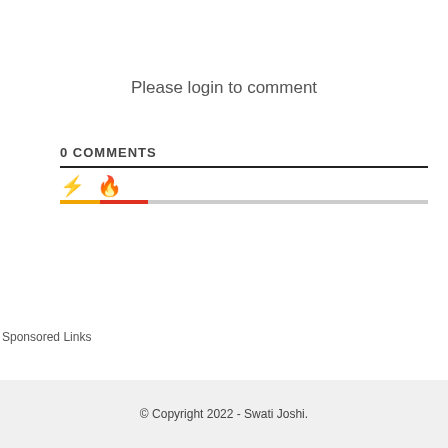Please login to comment
0 COMMENTS
Sponsored Links
© Copyright 2022 - Swati Joshi.